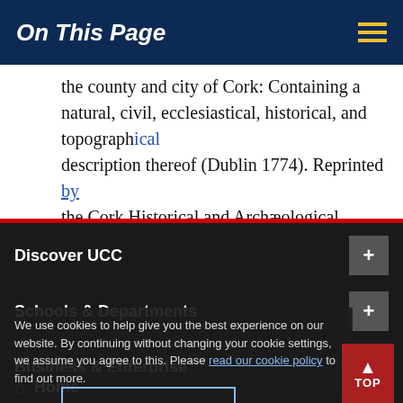On This Page
the county and city of Cork: Containing a natural, civil, ecclesiastical, historical, and topographical description thereof (Dublin 1774). Reprinted by the Cork Historical and Archæological Society, with the addition of numerous original notes, etc.,
Discover UCC
Schools & Departments
We use cookies to help give you the best experience on our website. By continuing without changing your cookie settings, we assume you agree to this. Please read our cookie policy to find out more.
Business & Enterprise
Alumni & Development
Home